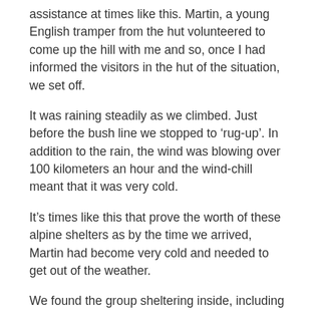assistance at times like this. Martin, a young English tramper from the hut volunteered to come up the hill with me and so, once I had informed the visitors in the hut of the situation, we set off.
It was raining steadily as we climbed. Just before the bush line we stopped to ‘rug-up’. In addition to the rain, the wind was blowing over 100 kilometers an hour and the wind-chill meant that it was very cold.
It’s times like this that prove the worth of these alpine shelters as by the time we arrived, Martin had become very cold and needed to get out of the weather.
We found the group sheltering inside, including the patient who had been wrapped in a thermal blanket and was in a sleeping bag. Fortunately, they were campers and had bedrolls and a cooker to heat food with.